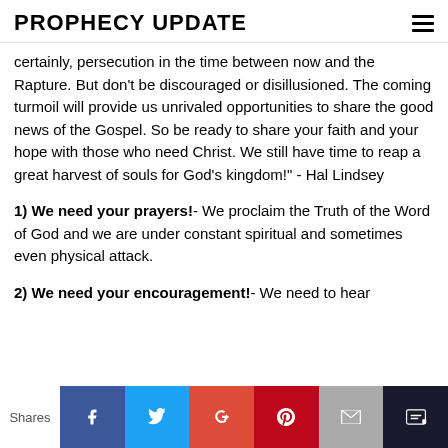PROPHECY UPDATE
certainly, persecution in the time between now and the Rapture. But don't be discouraged or disillusioned. The coming turmoil will provide us unrivaled opportunities to share the good news of the Gospel. So be ready to share your faith and your hope with those who need Christ. We still have time to reap a great harvest of souls for God's kingdom!" - Hal Lindsey
1) We need your prayers!- We proclaim the Truth of the Word of God and we are under constant spiritual and sometimes even physical attack.
2) We need your encouragement!- We need to hear...